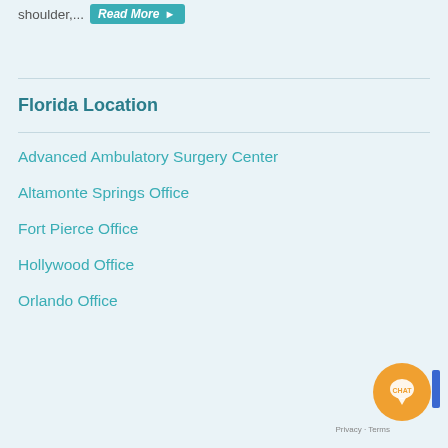shoulder,... Read More ▶
Florida Location
Advanced Ambulatory Surgery Center
Altamonte Springs Office
Fort Pierce Office
Hollywood Office
Orlando Office
[Figure (other): Chat button circle with orange background and CHAT label, with blue accent bar and Privacy - Terms text]